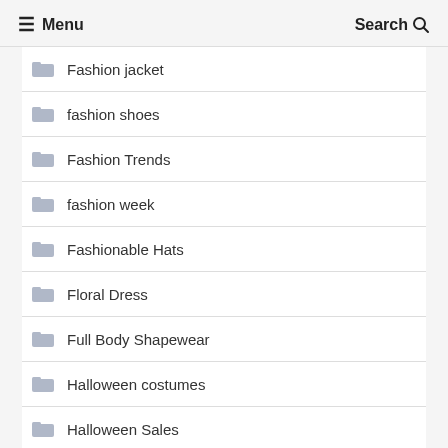≡ Menu   Search 🔍
Fashion jacket
fashion shoes
Fashion Trends
fashion week
Fashionable Hats
Floral Dress
Full Body Shapewear
Halloween costumes
Halloween Sales
Hoodie…